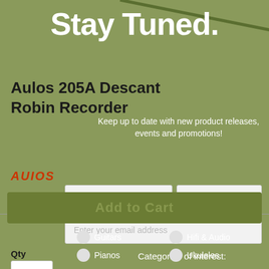[Figure (screenshot): E-commerce product page overlaid with a newsletter signup popup. Background shows product page for Aulos 205A Descant Robin Recorder priced £12.99, IN STOCK, SKU# 4582202780196, with Aulos logo, quantity field, and Add to Cart button. Foreground shows a popup with 'Stay Tuned.' heading, newsletter text, name/email fields, and categories of interest checkboxes for Guitars, Hifi & Audio, Pianos, Ukuleles.]